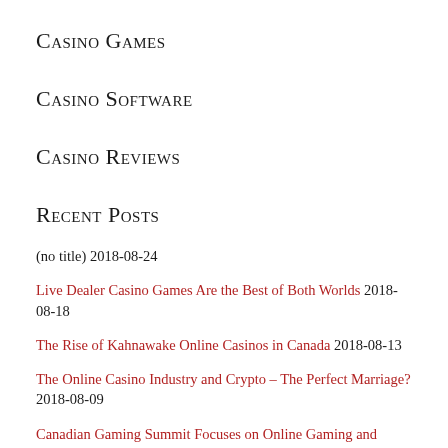Casino Games
Casino Software
Casino Reviews
Recent Posts
(no title) 2018-08-24
Live Dealer Casino Games Are the Best of Both Worlds 2018-08-18
The Rise of Kahnawake Online Casinos in Canada 2018-08-13
The Online Casino Industry and Crypto – The Perfect Marriage? 2018-08-09
Canadian Gaming Summit Focuses on Online Gaming and Technology 2018-08-05